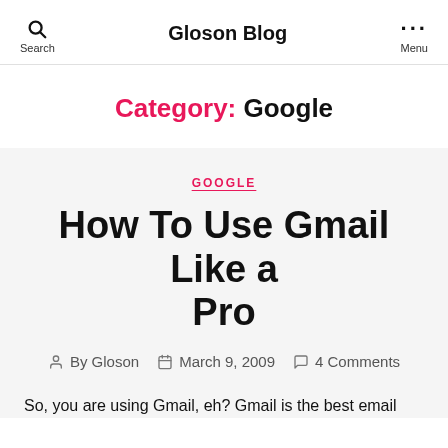Gloson Blog — Search | Menu
Category: Google
GOOGLE
How To Use Gmail Like a Pro
By Gloson   March 9, 2009   4 Comments
So, you are using Gmail, eh? Gmail is the best email